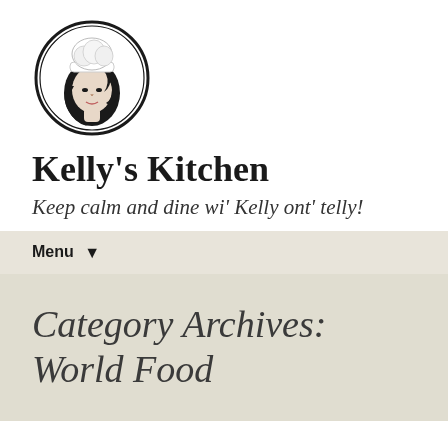[Figure (logo): Black and white circular logo of a woman chef wearing a white chef's hat, with long dark hair, facing slightly right, inside a double circle border.]
Kelly's Kitchen
Keep calm and dine wi' Kelly ont' telly!
Menu ▾
Category Archives: World Food
Wood fired pizzas
December 9, 2014    Festivals and festival food, Italian